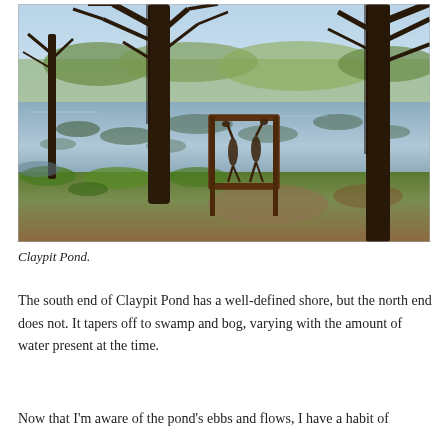[Figure (photo): Outdoor photograph of Claypit Pond showing a still pond with lily pads, bare and leafing deciduous trees in early spring, green grass on the shore, and a decorative metal gate/sign with heron silhouettes in the foreground.]
Claypit Pond.
The south end of Claypit Pond has a well-defined shore, but the north end does not. It tapers off to swamp and bog, varying with the amount of water present at the time.
Now that I'm aware of the pond's ebbs and flows, I have a habit of